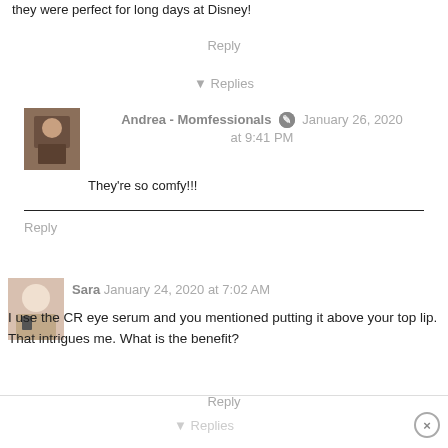they were perfect for long days at Disney!
Reply
Replies
Andrea - Momfessionals  January 26, 2020 at 9:41 PM
They're so comfy!!!
Reply
Sara  January 24, 2020 at 7:02 AM
I use the CR eye serum and you mentioned putting it above your top lip. That intrigues me. What is the benefit?
Reply
Replies